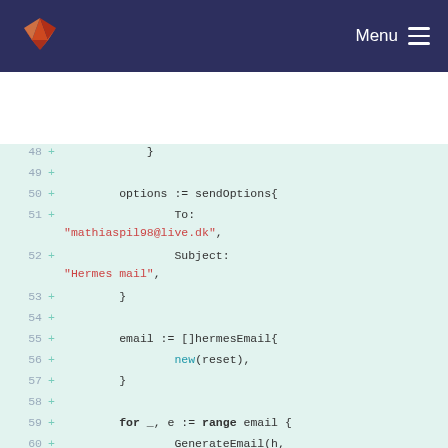GitLab Menu
[Figure (screenshot): Code diff view showing Go source code lines 48-64 with line numbers and addition markers on a light green background]
48 +            }
49 +
50 +        options := sendOptions{
51 +                To: "mathiaspil98@live.dk",
52 +            Subject: "Hermes mail",
53 +        }
54 +
55 +        email := []hermesEmail{
56 +            new(reset),
57 +        }
58 +
59 +        for _, e := range email {
60 +            GenerateEmail(h, e.Email(), e.Name())
61 +        }
62 +
63 +        for _, e := range email {
64 +            htmlBytes, err :=